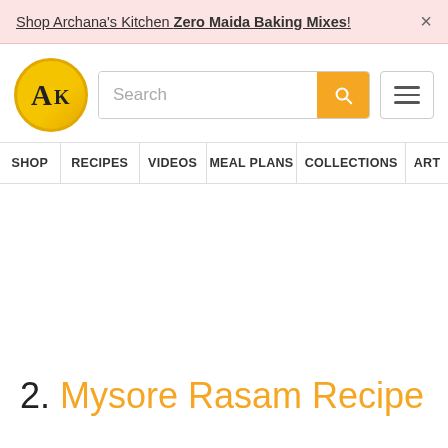Shop Archana's Kitchen Zero Maida Baking Mixes! ×
[Figure (logo): Archana's Kitchen logo — golden circle with AK text]
Search
| SHOP | RECIPES | VIDEOS | MEAL PLANS | COLLECTIONS | ART |
| --- | --- | --- | --- | --- | --- |
2. Mysore Rasam Recipe